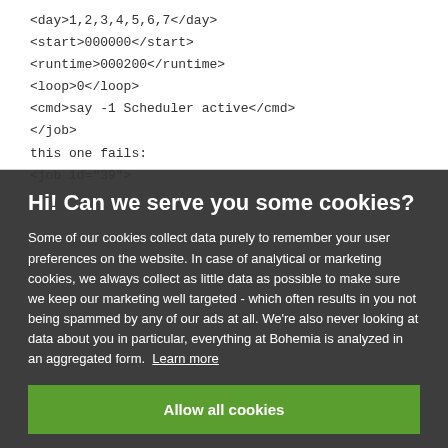<day>1,2,3,4,5,6,7</day>
<start>000000</start>
<runtime>000200</runtime>
<loop>0</loop>
<cmd>say -1 Scheduler active</cmd>
</job>
this one fails:
<job id="39">
Hi! Can we serve you some cookies?
Some of our cookies collect data purely to remember your user preferences on the website. In case of analytical or marketing cookies, we always collect as little data as possible to make sure we keep our marketing well targeted - which often results in you not being spammed by any of our ads at all. We're also never looking at data about you in particular, everything at Bohemia is analyzed in an aggregated form. Learn more
Allow all cookies
I want more options